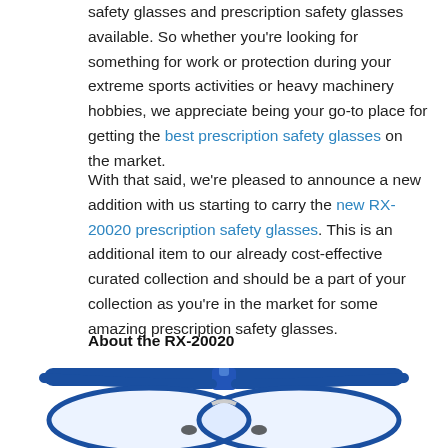safety glasses and prescription safety glasses available. So whether you're looking for something for work or protection during your extreme sports activities or heavy machinery hobbies, we appreciate being your go-to place for getting the best prescription safety glasses on the market.
With that said, we're pleased to announce a new addition with us starting to carry the new RX-20020 prescription safety glasses. This is an additional item to our already cost-effective curated collection and should be a part of your collection as you're in the market for some amazing prescription safety glasses.
About the RX-20020
[Figure (photo): Close-up photo of blue and clear prescription safety glasses (RX-20020) viewed from the front, showing the blue top frame, clear lenses, and black nose pads.]